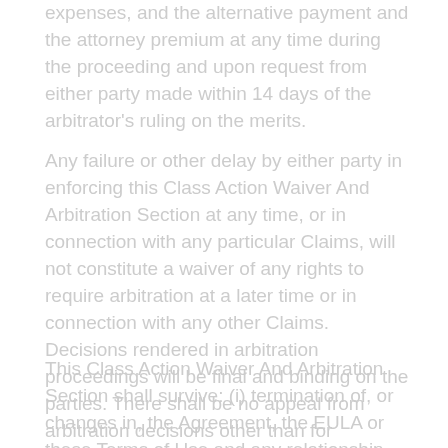expenses, and the alternative payment and the attorney premium at any time during the proceeding and upon request from either party made within 14 days of the arbitrator's ruling on the merits.
Any failure or other delay by either party in enforcing this Class Action Waiver And Arbitration Section at any time, or in connection with any particular Claims, will not constitute a waiver of any rights to require arbitration at a later time or in connection with any other Claims. Decisions rendered in arbitration proceedings will be final and binding on the parties. There shall be no appeal from arbitration decisions other than for arbitrator bias, fraud or misconduct and any award granted in arbitration will be enforceable by any court having jurisdiction as provided by the FAA and/or other applicable law.
This Class Action Waiver And Arbitration Section shall survive: (i) termination of, or changes in, the Agreement, the EULA or these Terms of Use and any relationship between you and us; (ii) the bankruptcy of any party or any other similar proceeding initiated by you, or on your behalf; and (iii) payment in full of